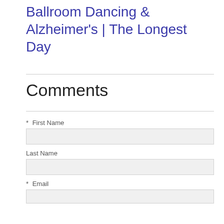Ballroom Dancing & Alzheimer's | The Longest Day
Comments
* First Name
Last Name
* Email